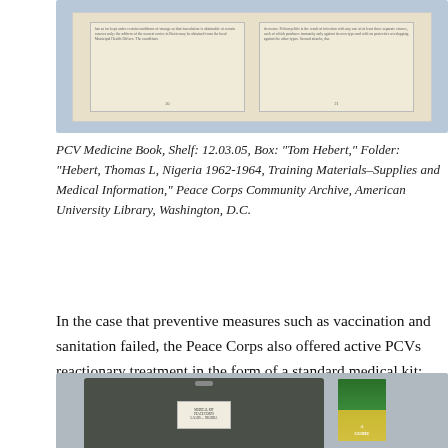[Figure (photo): Photograph of an open booklet showing two pages with small printed text and page numbers 20 and 21, placed on a light background.]
PCV Medicine Book, Shelf: 12.03.05, Box: "Tom Hebert," Folder: "Hebert, Thomas L, Nigeria 1962-1964, Training Materials–Supplies and Medical Information," Peace Corps Community Archive, American University Library, Washington, D.C.
In the case that preventive measures such as vaccination and sanitation failed, the Peace Corps also offered active PCVs reactionary treatment in the form of a standard medical kit:
[Figure (photo): Photograph of a dark metal medical kit case open, with a label inside, next to a small green and yellow booklet titled 'A GUIDE'.]